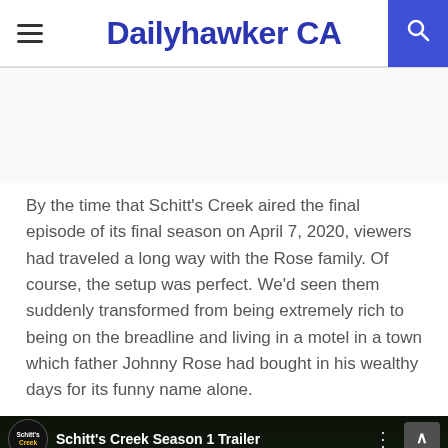Dailyhawker CA
By the time that Schitt's Creek aired the final episode of its final season on April 7, 2020, viewers had traveled a long way with the Rose family. Of course, the setup was perfect. We'd seen them suddenly transformed from being extremely rich to being on the breadline and living in a motel in a town which father Johnny Rose had bought in his wealthy days for its funny name alone.
[Figure (screenshot): YouTube video thumbnail for Schitt's Creek Season 1 Trailer showing four cast members standing outdoors with a dark overlay bar at top displaying the channel logo and video title.]